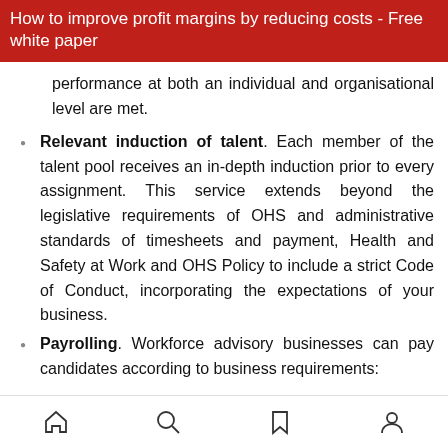How to improve profit margins by reducing costs - Free white paper
performance at both an individual and organisational level are met.
Relevant induction of talent. Each member of the talent pool receives an in-depth induction prior to every assignment. This service extends beyond the legislative requirements of OHS and administrative standards of timesheets and payment, Health and Safety at Work and OHS Policy to include a strict Code of Conduct, incorporating the expectations of your business.
Payrolling. Workforce advisory businesses can pay candidates according to business requirements: